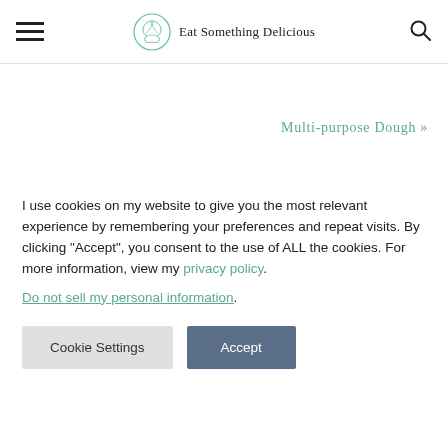Eat Something Delicious
Multi-purpose Dough »
I use cookies on my website to give you the most relevant experience by remembering your preferences and repeat visits. By clicking "Accept", you consent to the use of ALL the cookies. For more information, view my privacy policy.
Do not sell my personal information.
Cookie Settings  Accept